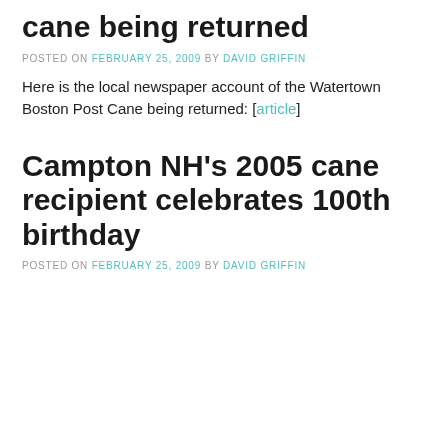cane being returned
POSTED ON FEBRUARY 25, 2009 BY DAVID GRIFFIN
Here is the local newspaper account of the Watertown Boston Post Cane being returned: [article]
Campton NH's 2005 cane recipient celebrates 100th birthday
POSTED ON FEBRUARY 25, 2009 BY DAVID GRIFFIN